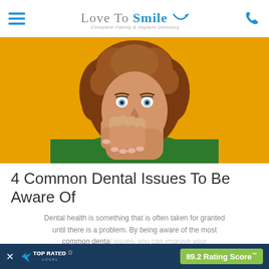Love To Smile — Complete Family & Implant Dentistry
[Figure (photo): Young woman with curly brown hair covering her mouth with her hands, wearing a green sweater, against a bright yellow/orange background]
4 Common Dental Issues To Be Aware Of
Dental health is something that is often taken for granted until there is a problem. By being aware of the most common dental issues, you can improve your oral health and s… Overland Park
[Figure (infographic): Top Rated Local banner overlay at bottom of page showing '89.2 Rating Score™' badge with blue background]